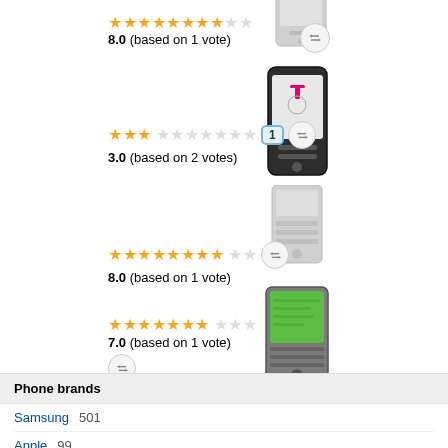[Figure (illustration): Phone device image (gray/white phone) at top]
8.0 (based on 1 vote)
[Figure (illustration): T-Mobile branded smartphone]
3.0 (based on 2 votes)
[Figure (illustration): Gray phone device image]
8.0 (based on 1 vote)
[Figure (illustration): Green screen PDA/smartphone device]
7.0 (based on 1 vote)
Phone brands
Samsung  501
Apple  99